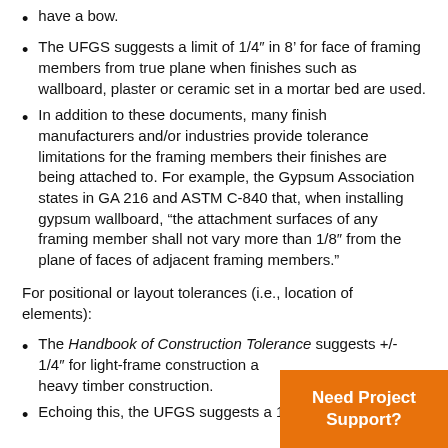have a bow.
The UFGS suggests a limit of 1/4″ in 8’ for face of framing members from true plane when finishes such as wallboard, plaster or ceramic set in a mortar bed are used.
In addition to these documents, many finish manufacturers and/or industries provide tolerance limitations for the framing members their finishes are being attached to. For example, the Gypsum Association states in GA 216 and ASTM C-840 that, when installing gypsum wallboard, “the attachment surfaces of any framing member shall not vary more than 1/8″ from the plane of faces of adjacent framing members.”
For positional or layout tolerances (i.e., location of elements):
The Handbook of Construction Tolerance suggests +/- 1/4″ for light-frame construction a… heavy timber construction.
Echoing this, the UFGS suggests a 1…
[Figure (other): Orange call-to-action box with text 'Need Project Support?']